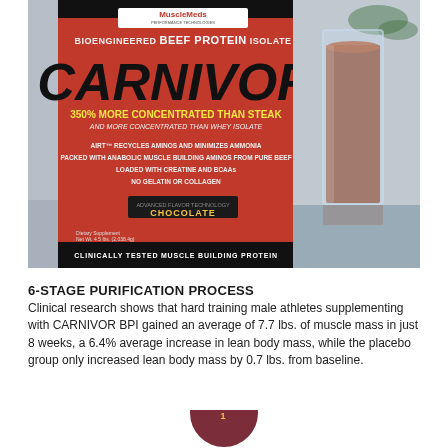[Figure (photo): Photo of MuscleMeds CARNIVOR Bioengineered Beef Protein Isolate container (chocolate flavor, 4.5 lbs) on the left, showing '350% More Concentrated Than Steak' and various bullet points, alongside a glass of chocolate protein shake on the right.]
6-STAGE PURIFICATION PROCESS
Clinical research shows that hard training male athletes supplementing with CARNIVOR BPI gained an average of 7.7 lbs. of muscle mass in just 8 weeks, a 6.4% average increase in lean body mass, while the placebo group only increased lean body mass by 0.7 lbs. from baseline.
[Figure (illustration): Dark reddish-brown circular badge partially visible at bottom of page showing 'STAGE 1' text in gold/yellow color.]